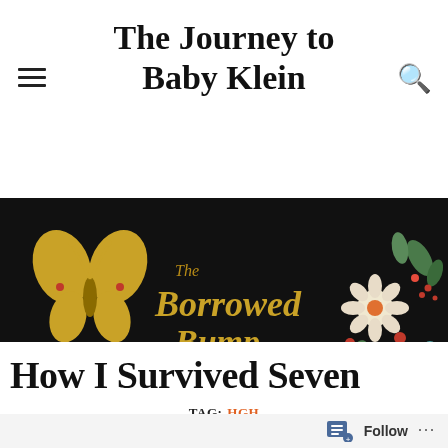The Journey to Baby Klein
[Figure (logo): The Borrowed Bump logo — gold butterfly and script text on black background with floral decoration]
TAG: HGH
How I Survived Seven
Follow ...